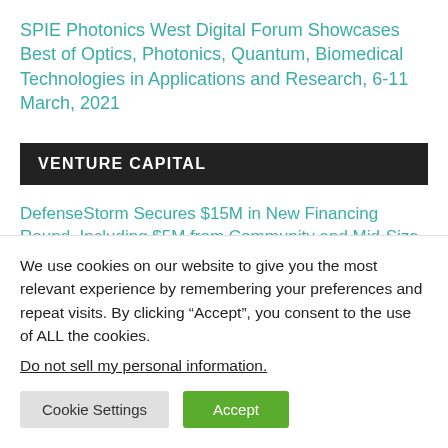SPIE Photonics West Digital Forum Showcases Best of Optics, Photonics, Quantum, Biomedical Technologies in Applications and Research, 6-11 March, 2021
VENTURE CAPITAL
DefenseStorm Secures $15M in New Financing Round, Including $5M from Community and Mid-Size Bank
We use cookies on our website to give you the most relevant experience by remembering your preferences and repeat visits. By clicking “Accept”, you consent to the use of ALL the cookies.
Do not sell my personal information.
Cookie Settings
Accept